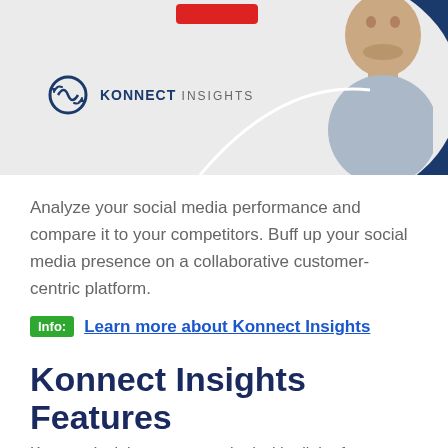[Figure (illustration): Konnect Insights banner with logo on the left side against a light gray background, a person (man) on the right side against a dark navy blue background, a white curved line, and a red button at the top center.]
Analyze your social media performance and compare it to your competitors. Buff up your social media presence on a collaborative customer-centric platform.
Info: Learn more about Konnect Insights
Konnect Insights Features
Konnect Insights comes packed with all the features